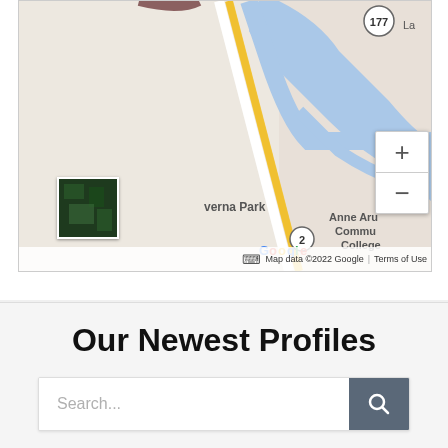[Figure (map): Google Maps screenshot showing Severna Park area in Maryland with Anne Arundel Community College visible. Map includes zoom controls (+/-), a satellite view thumbnail, and Google branding. Map data ©2022 Google, Terms of Use shown at bottom.]
Our Newest Profiles
Search...